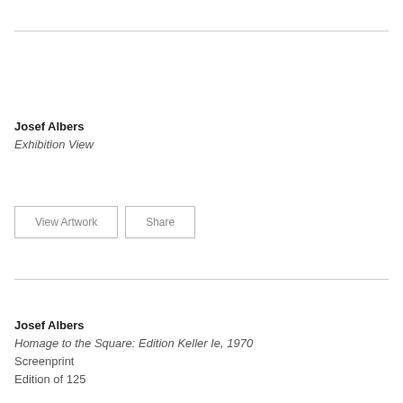Josef Albers
Exhibition View
View Artwork
Share
Josef Albers
Homage to the Square: Edition Keller Ie, 1970
Screenprint
Edition of 125